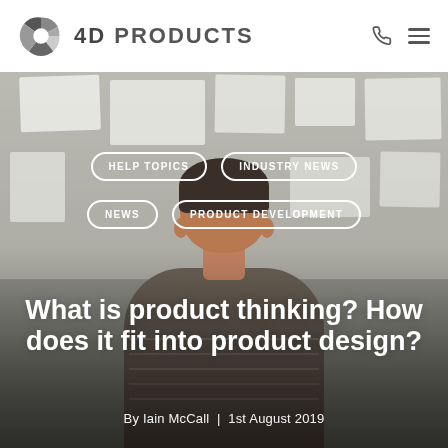4D PRODUCTS
[Figure (photo): Person viewed from behind looking at a whiteboard covered with design documents and sticky notes, in a bright workspace]
HELP TOPICS
INDUSTRY NEWS
NEWS
PRODUCT DEVELOPMENT
What is product thinking? How does it fit into product design?
By Iain McCall  |  1st August 2019